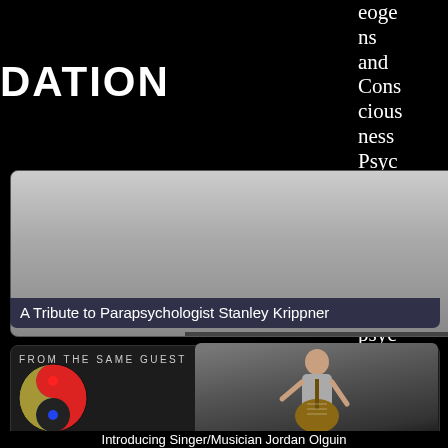DATION
eoge
ns
and
Cons
cious
ness
Psyc
holog
y and
Psyc
hoth
erapy
Para
psyc
holog
y and
Psyc
hical
Rese
arc
h
[Figure (screenshot): Video thumbnail with overlay text 'A Tribute to Parapsychologist Stanley Krippner']
A Tribute to Parapsychologist Stanley Krippner
FROM THE SAME GUEST
[Figure (illustration): Colorful yin-yang symbol with red, green, blue, yellow colors]
[Figure (photo): Singer/Musician playing guitar and singing]
Introducing Singer/Musician Jordan Olguin